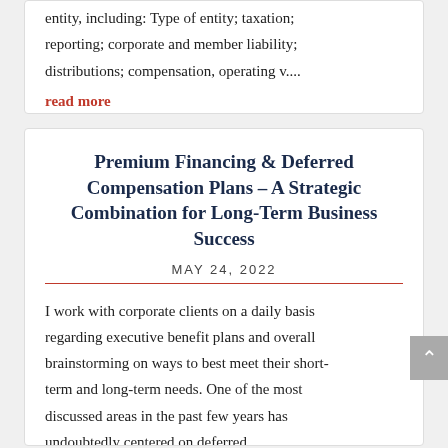entity, including: Type of entity; taxation; reporting; corporate and member liability; distributions; compensation, operating v....
read more
Premium Financing & Deferred Compensation Plans – A Strategic Combination for Long-Term Business Success
MAY 24, 2022
I work with corporate clients on a daily basis regarding executive benefit plans and overall brainstorming on ways to best meet their short-term and long-term needs. One of the most discussed areas in the past few years has undoubtedly centered on deferred...